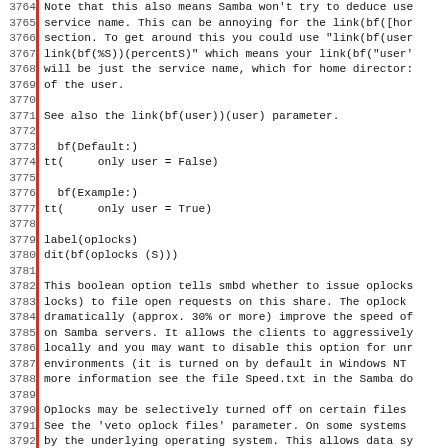3764 Note that this also means Samba won't try to deduce use
3765 service name. This can be annoying for the link(bf([hor
3766 section. To get around this you could use "link(bf(user
3767 link(bf(%S))(percentS)" which means your link(bf("user'
3768 will be just the service name, which for home director:
3769 of the user.
3770 
3771 See also the link(bf(user))(user) parameter.
3772 
3773   bf(Default:)
3774 tt(     only user = False)
3775 
3776   bf(Example:)
3777 tt(     only user = True)
3778 
3779 label(oplocks)
3780 dit(bf(oplocks (S)))
3781 
3782 This boolean option tells smbd whether to issue oplock
3783 locks) to file open requests on this share. The oplock
3784 dramatically (approx. 30% or more) improve the speed of
3785 on Samba servers. It allows the clients to aggressively
3786 locally and you may want to disable this option for unr
3787 environments (it is turned on by default in Windows NT
3788 more information see the file Speed.txt in the Samba do
3789 
3790 Oplocks may be selectively turned off on certain files
3791 See the 'veto oplock files' parameter. On some systems
3792 by the underlying operating system. This allows data sy
3793 all access to oplocked files, whether it be via Samba o
3794 UNIX process. See the link(bf(kernel oplocks))(kernelop
3795 for details.